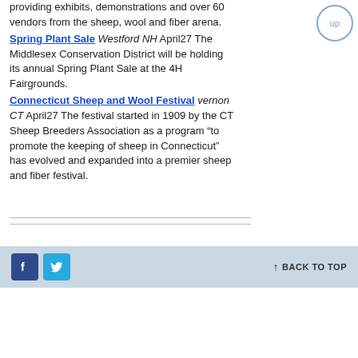providing exhibits, demonstrations and over 60 vendors from the sheep, wool and fiber arena.
Spring Plant Sale Westford NH April27 The Middlesex Conservation District will be holding its annual Spring Plant Sale at the 4H Fairgrounds.
Connecticut Sheep and Wool Festival vernon CT April27 The festival started in 1909 by the CT Sheep Breeders Association as a program “to promote the keeping of sheep in Connecticut” has evolved and expanded into a premier sheep and fiber festival.
Contact   Privacy Policy
BACK TO TOP